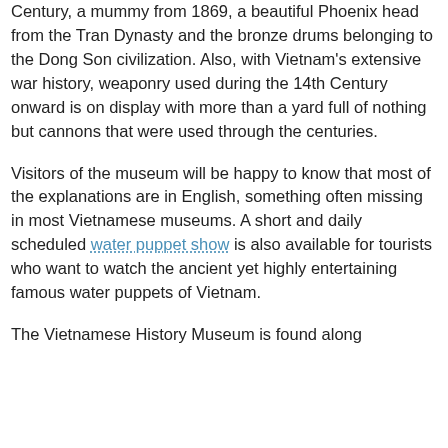Century, a mummy from 1869, a beautiful Phoenix head from the Tran Dynasty and the bronze drums belonging to the Dong Son civilization. Also, with Vietnam's extensive war history, weaponry used during the 14th Century onward is on display with more than a yard full of nothing but cannons that were used through the centuries.
Visitors of the museum will be happy to know that most of the explanations are in English, something often missing in most Vietnamese museums. A short and daily scheduled water puppet show is also available for tourists who want to watch the ancient yet highly entertaining famous water puppets of Vietnam.
The Vietnamese History Museum is found along